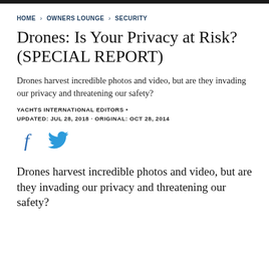HOME › OWNERS LOUNGE › SECURITY
Drones: Is Your Privacy at Risk? (SPECIAL REPORT)
Drones harvest incredible photos and video, but are they invading our privacy and threatening our safety?
YACHTS INTERNATIONAL EDITORS •
UPDATED: JUL 28, 2018 · ORIGINAL: OCT 28, 2014
[Figure (illustration): Social media share icons: Facebook (f) and Twitter (bird)]
Drones harvest incredible photos and video, but are they invading our privacy and threatening our safety?